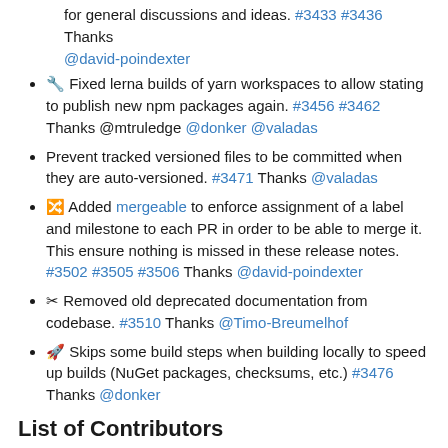for general discussions and ideas. #3433 #3436 Thanks @david-poindexter
🔧 Fixed lerna builds of yarn workspaces to allow stating to publish new npm packages again. #3456 #3462 Thanks @mtruledge @donker @valadas
Prevent tracked versioned files to be committed when they are auto-versioned. #3471 Thanks @valadas
🔀 Added mergeable to enforce assignment of a label and milestone to each PR in order to be able to merge it. This ensure nothing is missed in these release notes. #3502 #3505 #3506 Thanks @david-poindexter
✂ Removed old deprecated documentation from codebase. #3510 Thanks @Timo-Breumelhof
🚀 Skips some build steps when building locally to speed up builds (NuGet packages, checksums, etc.) #3476 Thanks @donker
List of Contributors